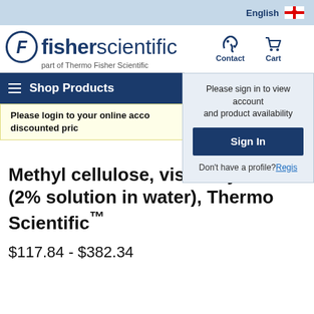English
[Figure (logo): Fisher Scientific logo — part of Thermo Fisher Scientific]
Shop Products
Please sign in to view account and product availability
Sign In
Don't have a profile? Register
Please login to your online account to see discounted price
Print
Methyl cellulose, viscosity 400 cP (2% solution in water), Thermo Scientific™
$117.84 - $382.34